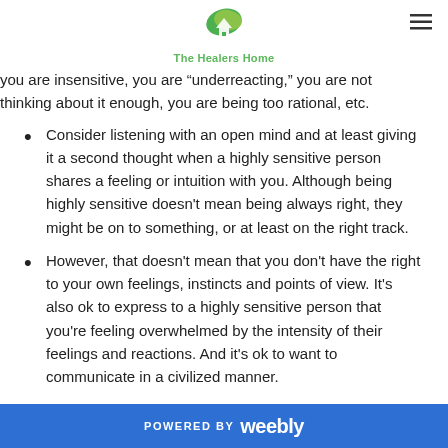The Healers Home
you are insensitive, you are "underreacting," you are not thinking about it enough, you are being too rational, etc.
Consider listening with an open mind and at least giving it a second thought when a highly sensitive person shares a feeling or intuition with you. Although being highly sensitive doesn't mean being always right, they might be on to something, or at least on the right track.
However, that doesn't mean that you don't have the right to your own feelings, instincts and points of view. It's also ok to express to a highly sensitive person that you're feeling overwhelmed by the intensity of their feelings and reactions. And it's ok to want to communicate in a civilized manner.
POWERED BY weebly